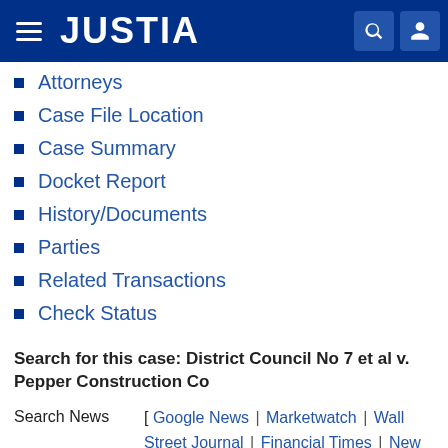JUSTIA
Attorneys
Case File Location
Case Summary
Docket Report
History/Documents
Parties
Related Transactions
Check Status
Search for this case: District Council No 7 et al v. Pepper Construction Co
Search News [ Google News | Marketwatch | Wall Street Journal | Financial Times | New York Times ]
Search Web [ Unicourt | Legal Web | Google | Bing | Yahoo | Ask ]